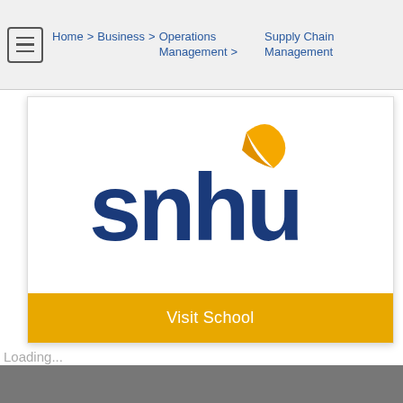Home > Business > Operations Management > Supply Chain Management
[Figure (logo): SNHU (Southern New Hampshire University) logo with dark blue text 'snhu' and an orange flame/leaf above the 'h']
Visit School
Loading...
Loading...